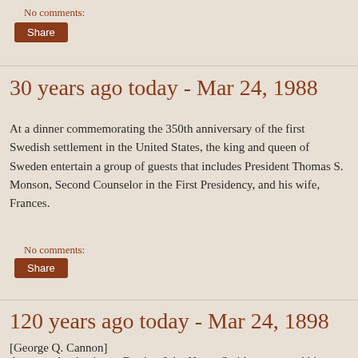No comments:
Share
30 years ago today - Mar 24, 1988
At a dinner commemorating the 350th anniversary of the first Swedish settlement in the United States, the king and queen of Sweden entertain a group of guests that includes President Thomas S. Monson, Second Counselor in the First Presidency, and his wife, Frances.
No comments:
Share
120 years ago today - Mar 24, 1898
[George Q. Cannon]
Among other business, Brother John Henry Smith announced his